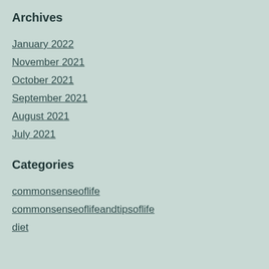Archives
January 2022
November 2021
October 2021
September 2021
August 2021
July 2021
Categories
commonsenseoflife
commonsenseoflifeandtipsoflife
diet